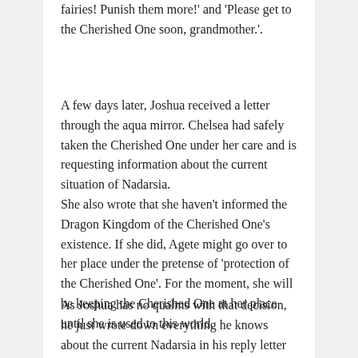fairies! Punish them more!' and 'Please get to the Cherished One soon, grandmother.'.
A few days later, Joshua received a letter through the aqua mirror. Chelsea had safely taken the Cherished One under her care and is requesting information about the current situation of Nadarsia.
She also wrote that she haven't informed the Dragon Kingdom of the Cherished One's existence. If she did, Agete might go over to her place under the pretense of 'protection of the Cherished One'. For the moment, she will be keeping the Cherished One at her place until she is used to this world.
As Joshua has no qualms with that decision, he just wrote down everything he knows about the current Nadarsia in his reply letter and sends it to Chelsea. A while after that, magic was once again usable in